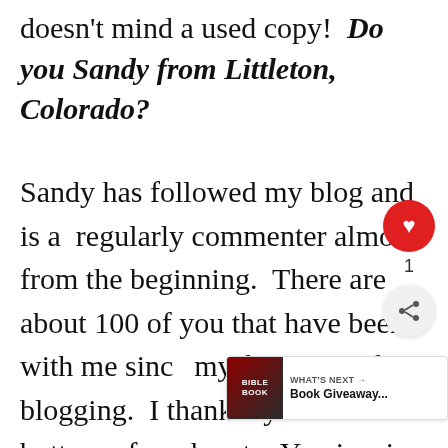doesn't mind a used copy!  Do you Sandy from Littleton, Colorado?
Sandy has followed my blog and is a  regularly commenter almost from the beginning.  There are about 100 of you that have been with me since my first year of blogging.  I thank you from the bottom of my heart.  You inspire me to keep writing, studying, and cooking!